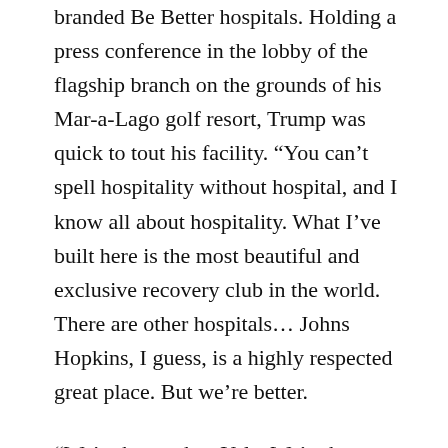branded Be Better hospitals. Holding a press conference in the lobby of the flagship branch on the grounds of his Mar-a-Lago golf resort, Trump was quick to tout his facility. “You can’t spell hospitality without hospital, and I know all about hospitality. What I’ve built here is the most beautiful and exclusive recovery club in the world. There are other hospitals… Johns Hopkins, I guess, is a highly respected great place. But we’re better.
“We’re better than Yale. We’re better than Mass General. We’re better than that Mayonnaise Clinic, although they make a great condiment. We’re doing a tremendous job,” Trump boasted. Pressed to elaborate, Trump stated, “Look at our statistics. All those other hospitals… the supposedly top